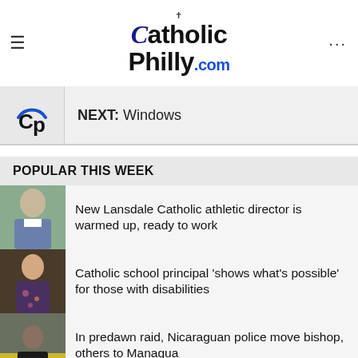CatholicPhilly.com
NEXT: Windows
POPULAR THIS WEEK
New Lansdale Catholic athletic director is warmed up, ready to work
Catholic school principal ‘shows what’s possible’ for those with disabilities
In predawn raid, Nicaraguan police move bishop, others to Managua